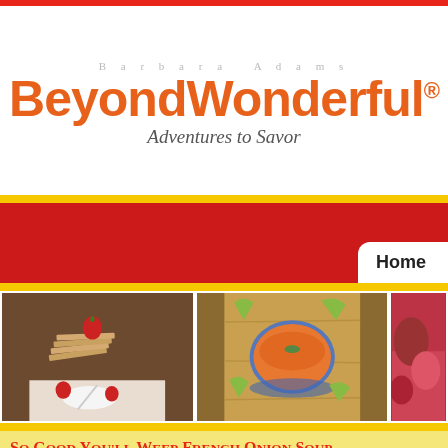Barbara Adams BeyondWonderful® Adventures to Savor
Home
[Figure (photo): Stack of crackers with strawberries and whipped cream on a white plate]
[Figure (photo): Bowl of orange soup with lime wedges on wooden surface]
[Figure (photo): Partial view of a dessert with red/pink colors]
So Good You'll Weep French Onion Soup
There is a small cabin at Lake Tahoe that always embraces ability to shut out the chaos of modern life. Earlier, a enhanced my appetite and sent me happily into the cabin's large pot of homemade French onion soup for dinner. This the complex flavors of a rich bowl of broth, bread, and it